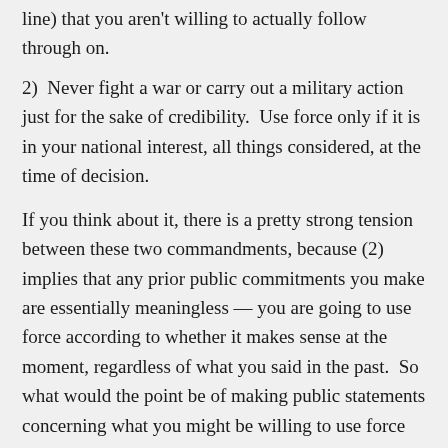line) that you aren't willing to actually follow through on.
2)  Never fight a war or carry out a military action just for the sake of credibility.  Use force only if it is in your national interest, all things considered, at the time of decision.
If you think about it, there is a pretty strong tension between these two commandments, because (2) implies that any prior public commitments you make are essentially meaningless — you are going to use force according to whether it makes sense at the moment, regardless of what you said in the past.  So what would the point be of making public statements concerning what you might be willing to use force over?  How would doing so convey any real